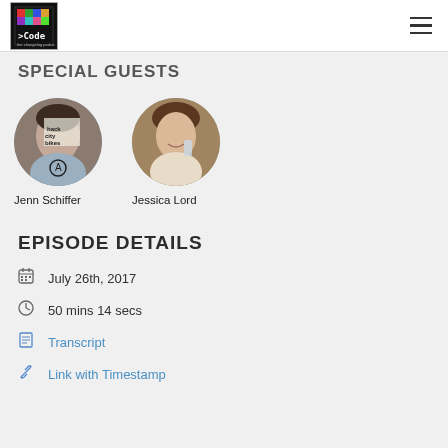>Code (logo) | hamburger menu
SPECIAL GUESTS
[Figure (photo): Circular avatar photo of Jenn Schiffer]
Jenn Schiffer
[Figure (photo): Circular avatar photo of Jessica Lord]
Jessica Lord
EPISODE DETAILS
July 26th, 2017
50 mins 14 secs
Transcript
Link with Timestamp